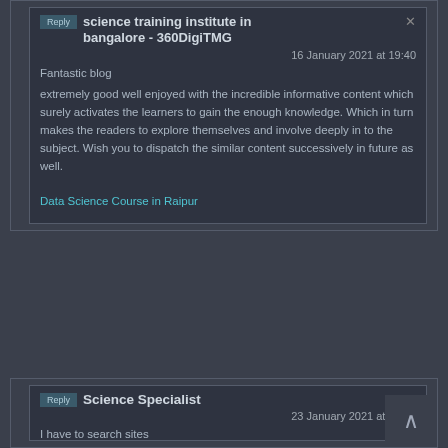science training institute in bangalore - 360DigiTMG
16 January 2021 at 19:40
Fantastic blog
extremely good well enjoyed with the incredible informative content which surely activates the learners to gain the enough knowledge. Which in turn makes the readers to explore themselves and involve deeply in to the subject. Wish you to dispatch the similar content successively in future as well.
Data Science Course in Raipur
Science Specialist
23 January 2021 at 14:15
I have to search sites with relevant information ,This is a wonderful blog.These type of blog keeps the